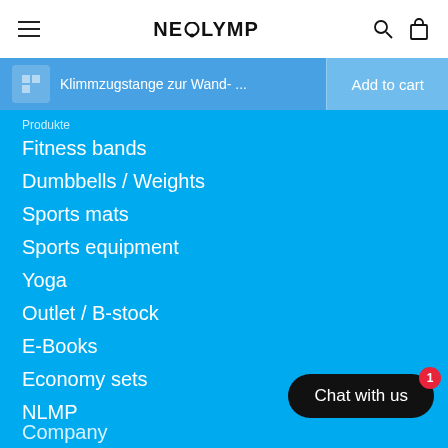NEOLYMP
Klimmzugstange zur Wand-... Add to cart
Produkte
Fitness bands
Dumbbells / Weights
Sports mats
Sports equipment
Yoga
Outlet / B-stock
E-Books
Economy sets
NLMP
Chat with us
Company